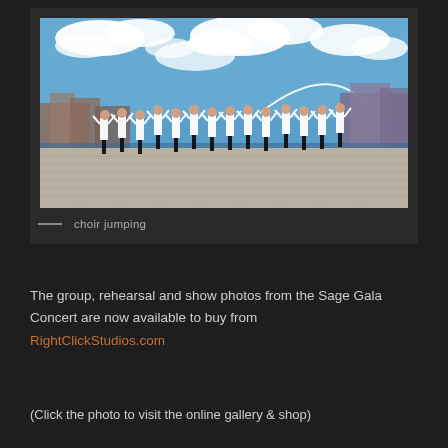[Figure (photo): A large group of choir members in white shirts and dark trousers jumping and celebrating outdoors on a rooftop/plaza with the Tyne Bridge and city skyline visible in the background under a blue sky with white clouds.]
— choir jumping
The group, rehearsal and show photos from the Sage Gala Concert are now available to buy from RightClickStudios.com
(Click the photo to visit the online gallery & shop)